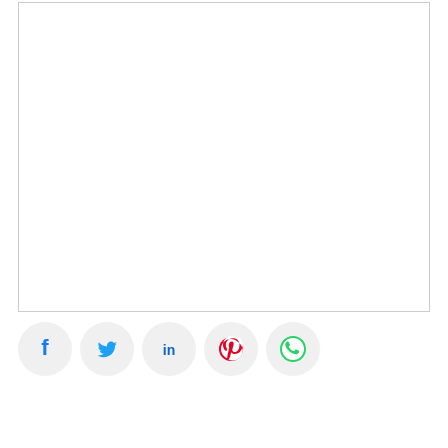[Figure (other): Empty white rectangular box with thin gray border]
[Figure (other): Social media share buttons row: Facebook (blue f), Twitter (blue bird), LinkedIn (blue in), Pinterest (red P), WhatsApp (green phone)]